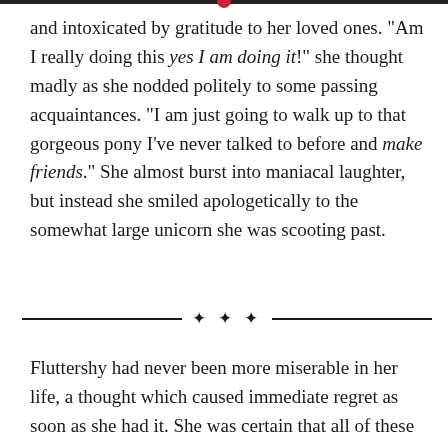and intoxicated by gratitude to her loved ones. "Am I really doing this yes I am doing it!" she thought madly as she nodded politely to some passing acquaintances. "I am just going to walk up to that gorgeous pony I've never talked to before and make friends." She almost burst into maniacal laughter, but instead she smiled apologetically to the somewhat large unicorn she was scooting past.
Fluttershy had never been more miserable in her life, a thought which caused immediate regret as soon as she had it. She was certain that all of these ponies were very nice. But the thing was, she didn't know most of